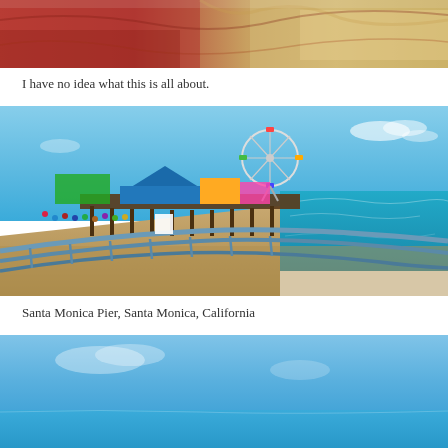[Figure (photo): Close-up photo showing reddish and beige sandy rock formations or cave walls with textured surfaces.]
I have no idea what this is all about.
[Figure (photo): Santa Monica Pier with a ferris wheel, colorful amusement park rides, crowds of people, a long pier extending over turquoise ocean water, and blue sky above.]
Santa Monica Pier, Santa Monica, California
[Figure (photo): Partial view of a bright blue sky over a body of water, possibly a beach or ocean scene.]